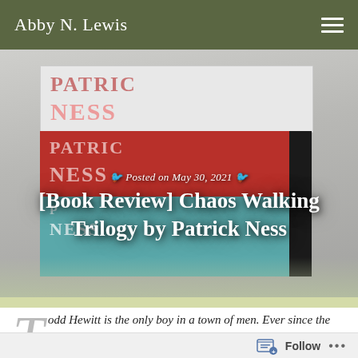Abby N. Lewis
[Figure (photo): Stack of Patrick Ness Chaos Walking trilogy books photographed from above, showing book spines in white, red, and teal colors]
Posted on May 30, 2021
[Book Review] Chaos Walking Trilogy by Patrick Ness
Todd Hewitt is the only boy in a town of men. Ever since the settlers were infected with the Noise germ, Todd can hear everything the men think, and they hear everything he thinks. Todd is just a month away from becoming a man, but in the